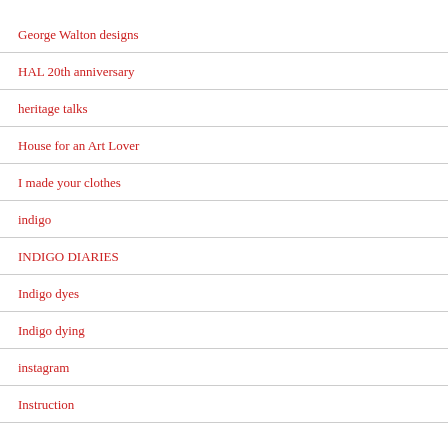George Walton designs
HAL 20th anniversary
heritage talks
House for an Art Lover
I made your clothes
indigo
INDIGO DIARIES
Indigo dyes
Indigo dying
instagram
Instruction